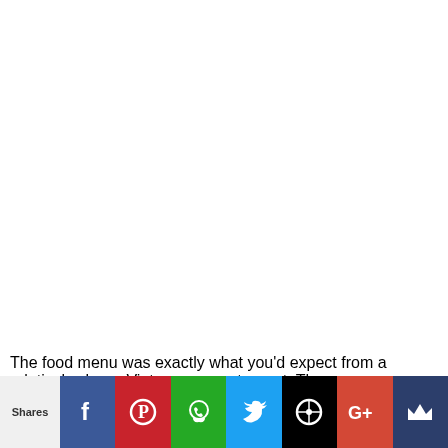[Figure (photo): Large white/blank image area occupying the upper portion of the page]
The food menu was exactly what you'd expect from a relatively classy Vietnamese restaurant. There was an
Shares | Facebook | Pinterest | WhatsApp | Twitter | WordPress | Google+ | Crown